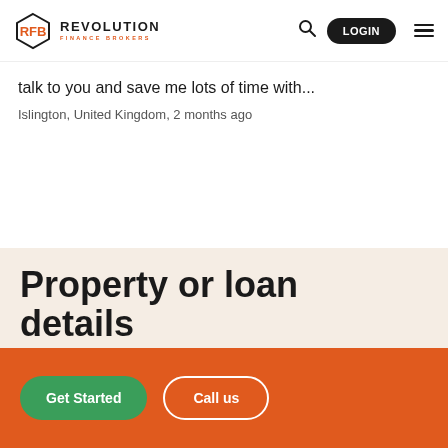REVOLUTION FINANCE BROKERS — LOGIN
talk to you and save me lots of time with…
Islington, United Kingdom, 2 months ago
Property or loan details
Get Started
Call us